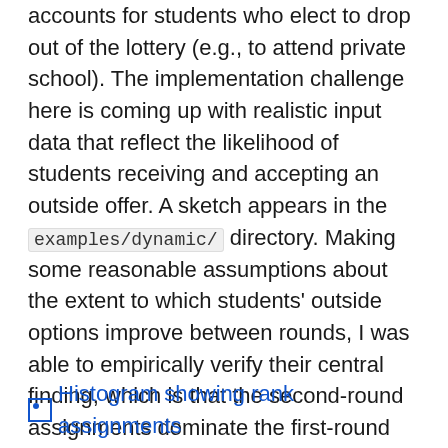accounts for students who elect to drop out of the lottery (e.g., to attend private school). The implementation challenge here is coming up with realistic input data that reflect the likelihood of students receiving and accepting an outside offer. A sketch appears in the examples/dynamic/ directory. Making some reasonable assumptions about the extent to which students' outside options improve between rounds, I was able to empirically verify their central finding, which is that the second-round assignments dominate the first-round assignments rankwise, and using the reverse lottery numbers in the second round minimizes reassignment and improves equity by moving the students who did worst in the first round many ranks up their preference lists.
Histogram showing rank assignments